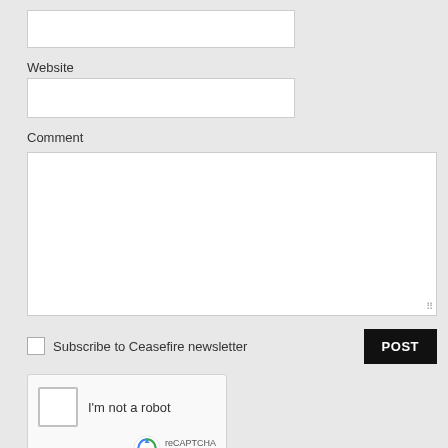[Figure (screenshot): Empty text input field for a form]
Website
[Figure (screenshot): Empty text input field for Website]
Comment
[Figure (screenshot): Empty textarea field for Comment]
[Figure (screenshot): Checkbox with label 'Subscribe to Ceasefire newsletter' and POST button]
[Figure (screenshot): reCAPTCHA widget with 'I'm not a robot' checkbox and reCAPTCHA logo]